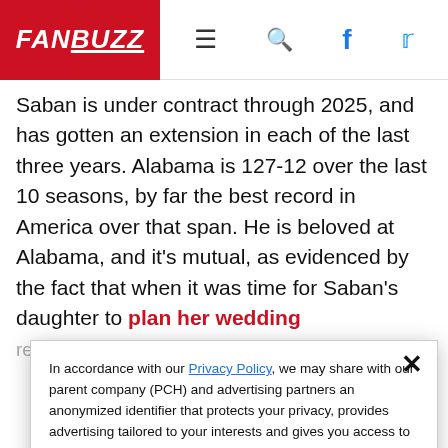FANBUZZ
Saban is under contract through 2025, and has gotten an extension in each of the last three years. Alabama is 127-12 over the last 10 seasons, by far the best record in America over that span. He is beloved at Alabama, and it's mutual, as evidenced by the fact that when it was time for Saban's daughter to plan her wedding reception she chose Bryant-Denny Stadium 2…
In accordance with our Privacy Policy, we may share with our parent company (PCH) and advertising partners an anonymized identifier that protects your privacy, provides advertising tailored to your interests and gives you access to advertising supported content. Data collected on one of our sites may be used on our other owned and operated sites, which sites are identified in our Privacy Policy. All of our sites are governed by the same Privacy Policy, and by proceeding to access this site, you are consenting to that Privacy Policy.